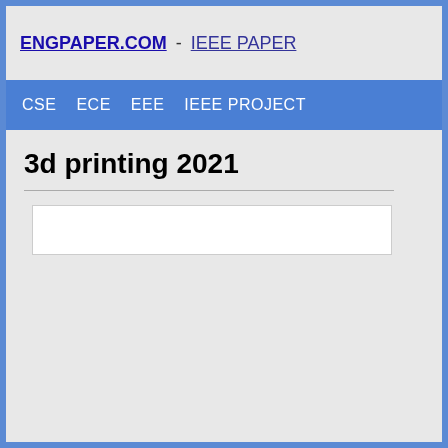ENGPAPER.COM - IEEE PAPER
CSE  ECE  EEE  IEEE PROJECT
3d printing 2021
[Figure (other): White search input box area]